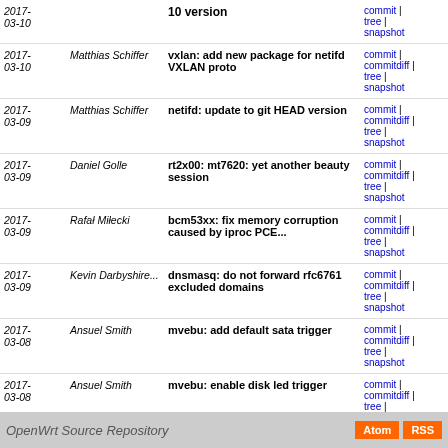| Date | Author | Message | Links |
| --- | --- | --- | --- |
| 2017-03-10 |  | 10 version | commit | commitdiff | tree | snapshot |
| 2017-03-10 | Matthias Schiffer | vxlan: add new package for netifd VXLAN proto | commit | commitdiff | tree | snapshot |
| 2017-03-09 | Matthias Schiffer | netifd: update to git HEAD version | commit | commitdiff | tree | snapshot |
| 2017-03-09 | Daniel Golle | rt2x00: mt7620: yet another beauty session | commit | commitdiff | tree | snapshot |
| 2017-03-09 | Rafał Miłecki | bcm53xx: fix memory corruption caused by iproc PCE... | commit | commitdiff | tree | snapshot |
| 2017-03-09 | Kevin Darbyshire... | dnsmasq: do not forward rfc6761 excluded domains | commit | commitdiff | tree | snapshot |
| 2017-03-08 | Ansuel Smith | mvebu: add default sata trigger | commit | commitdiff | tree | snapshot |
| 2017-03-08 | Ansuel Smith | mvebu: enable disk led trigger | commit | commitdiff | tree | snapshot |
| 2017-03-08 | Alex Maclean | lantiq: add support for the Alpha ASL56026 | commit | commitdiff | tree | snapshot |
next
OpenWrt Source Repository | Atom | RSS